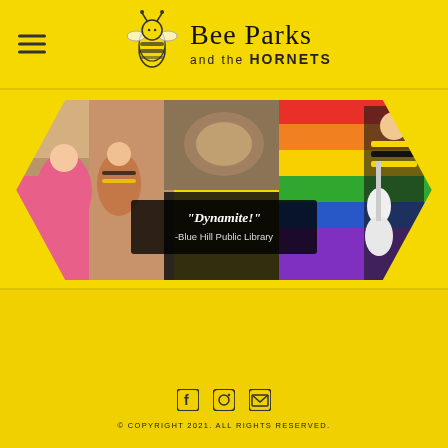Bee Parks and the HORNETS
[Figure (photo): Composite photo banner in hexagonal/honeycomb frame showing children in bee costumes playing and interacting, a Pride rainbow flag, and a person playing guitar in black and yellow striped shirt. Overlaid dark semi-transparent box with quote: “Dynamite!” -Blue Hill Public Library]
“Dynamite!”
-Blue Hill Public Library
© COPYRIGHT 2021. ALL RIGHTS RESERVED.